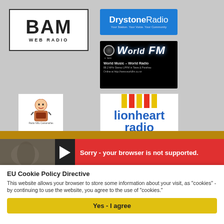[Figure (logo): BAM Web Radio logo — bold block letters BAM in a bordered box, with 'WEB RADIO' text below]
[Figure (logo): Drystone Radio logo — white and bold text on blue background, tagline 'Your Station. Your Voice. Your Community']
[Figure (logo): World FM logo — italic text on black background with planet/space imagery, 'World Music – World Radio', 88.2 MHz Stereo LPFM in Tawa & Parahau, Online at http://www.worldfm.co.nz]
[Figure (logo): Small cartoon character logo for a radio station — child/figure with radio, text appears to read Radio Niño Cantamañas or similar]
[Figure (logo): Lionheart Radio 107.3FM logo — colored vertical bars (yellow/red) above 'lionheart radio' in blue text, '107.3FM' below]
[Figure (screenshot): Web radio player interface on golden/brown background showing a statue image, play button, and error message 'Sorry - your browser is not supported.']
EU Cookie Policy Directive
This website allows your browser to store some information about your visit, as "cookies" - by continuing to use the website, you agree to the use of "cookies."
Yes - I agree